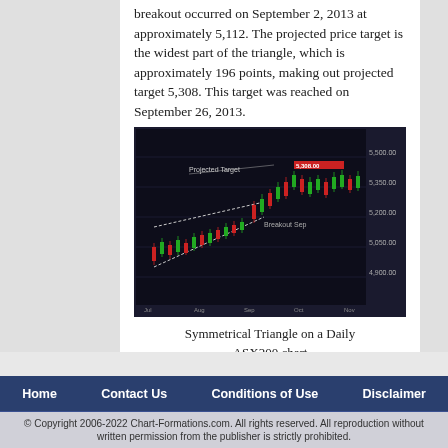breakout occurred on September 2, 2013 at approximately 5,112. The projected price target is the widest part of the triangle, which is approximately 196 points, making out projected target 5,308. This target was reached on September 26, 2013.
[Figure (screenshot): Candlestick chart showing a Symmetrical Triangle pattern on a Daily ASX200 chart, with price action from approximately July to October 2013, showing breakout and projected target level around 5,308.]
Symmetrical Triangle on a Daily ASX200 chart
Home   Contact Us   Conditions of Use   Disclaimer
© Copyright 2006-2022 Chart-Formations.com. All rights reserved. All reproduction without written permission from the publisher is strictly prohibited.